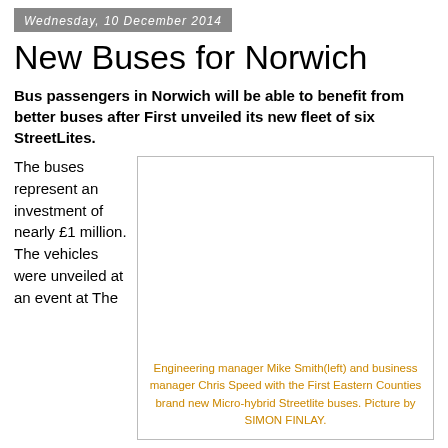Wednesday, 10 December 2014
New Buses for Norwich
Bus passengers in Norwich will be able to benefit from better buses after First unveiled its new fleet of six StreetLites.
The buses represent an investment of nearly £1 million. The vehicles were unveiled at an event at The
[Figure (photo): Photo of Engineering manager Mike Smith (left) and business manager Chris Speed with the First Eastern Counties brand new Micro-hybrid Streetlite buses.]
Engineering manager Mike Smith(left) and business manager Chris Speed with the First Eastern Counties brand new Micro-hybrid Streetlite buses. Picture by SIMON FINLAY.